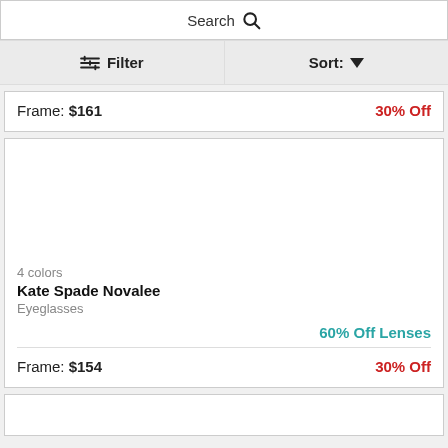Search
Filter  Sort:
Frame: $161  30% Off
4 colors
Kate Spade Novalee
Eyeglasses
60% Off Lenses
Frame: $154  30% Off